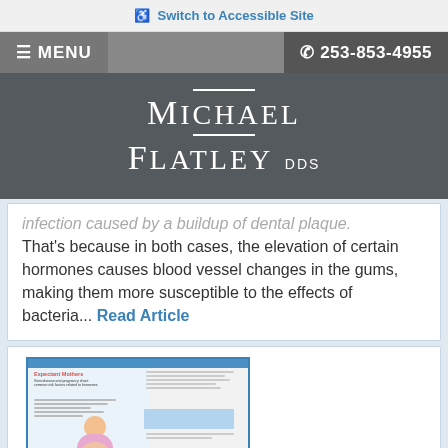Switch to Accessible Site
≡ MENU   253-853-4955
Michael Flatley DDS
infection caused by a buildup of dental plaque. That's because in both cases, the elevation of certain hormones causes blood vessel changes in the gums, making them more susceptible to the effects of bacteria... Read Article
[Figure (photo): Thumbnail image of a magazine article titled 'Expectant Mothers' showing a pregnant woman and article text columns.]